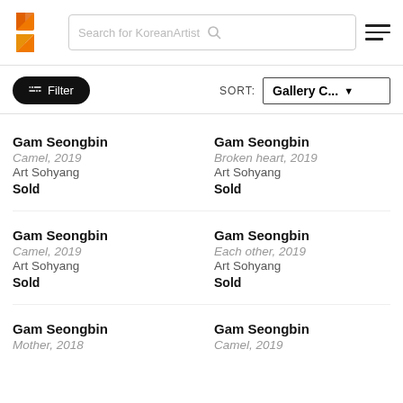[Figure (logo): KoreanArt orange K logo]
Search for KoreanArtist
≡ (hamburger menu icon)
⊞ Filter
SORT: Gallery C... ▼
Gam Seongbin
Camel, 2019
Art Sohyang
Sold
Gam Seongbin
Broken heart, 2019
Art Sohyang
Sold
Gam Seongbin
Camel, 2019
Art Sohyang
Sold
Gam Seongbin
Each other, 2019
Art Sohyang
Sold
Gam Seongbin
Mother, 2018
Gam Seongbin
Camel, 2019